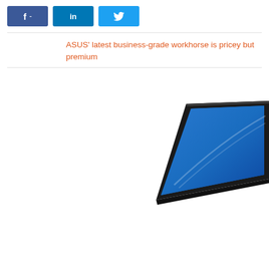[Figure (other): Social media share buttons: Facebook, LinkedIn, Twitter]
ASUS' latest business-grade workhorse is pricey but premium
[Figure (photo): Partial view of an ASUS laptop from the side/top angle showing the display screen with a blue gradient wallpaper and thin dark bezel, photographed at an angle]